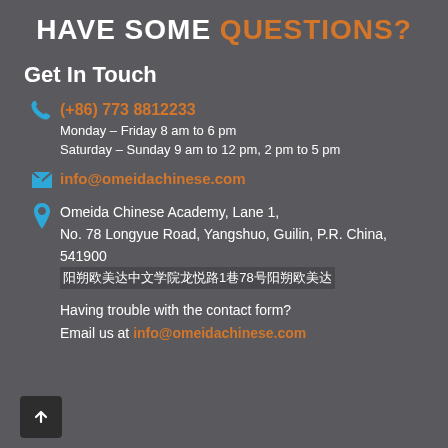HAVE SOME QUESTIONS?
Get In Touch
(+86) 773 8812233
Monday – Friday 8 am to 6 pm
Saturday – Sunday 9 am to 12 pm, 2 pm to 5 pm
info@omeidachinese.com
Omeida Chinese Academy, Lane 1, No. 78 Longyue Road, Yangshuo, Guilin, P.R. China, 541900
阳朔欧美达中文学院龙悦路1巷78号
Having trouble with the contact form?
Email us at info@omeidachinese.com